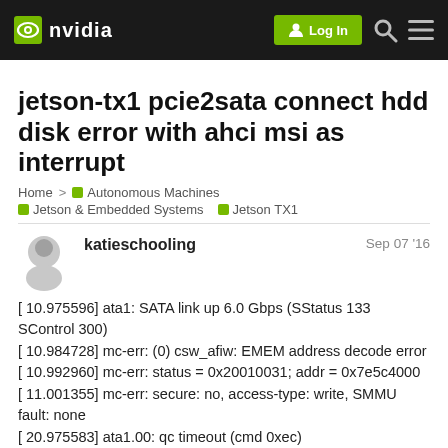NVIDIA  Log In
jetson-tx1 pcie2sata connect hdd disk error with ahci msi as interrupt
Home > Autonomous Machines > Jetson & Embedded Systems > Jetson TX1
katieschooling  Sep 07 '16
[ 10.975596] ata1: SATA link up 6.0 Gbps (SStatus 133 SControl 300)
[ 10.984728] mc-err: (0) csw_afiw: EMEM address decode error
[ 10.992960] mc-err: status = 0x20010031; addr = 0x7e5c4000
[ 11.001355] mc-err: secure: no, access-type: write, SMMU fault: none
[ 20.975583] ata1.00: qc timeout (cmd 0xec)